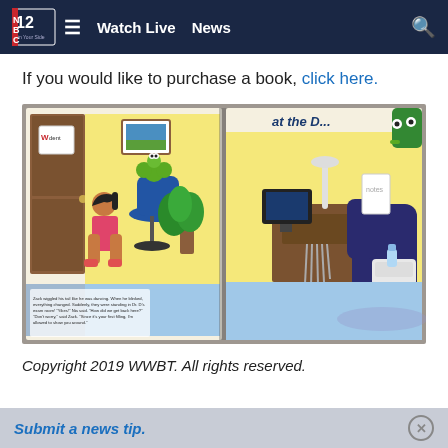NBC12 On Your Side — Watch Live  News
If you would like to purchase a book, click here.
[Figure (photo): Open children's book showing illustrated pages: left page depicts a girl in a pink dress and a green caterpillar character in a dental waiting room; right page shows a dental exam room with a dentist chair and equipment. Text on the left page reads: 'Zack wiggled his tail like he was dancing. When he blinked, everything changed. Suddenly, they were standing in Dr. D's exam room! "Yikes!" Nia said. "How did we get back here?" "Don't worry," said Zack. "Since it's your first filling, I'm allowed to show you around."']
Copyright 2019 WWBT. All rights reserved.
Submit a news tip.